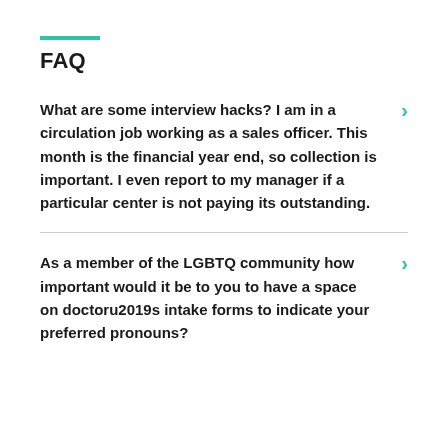FAQ
What are some interview hacks? I am in a circulation job working as a sales officer. This month is the financial year end, so collection is important. I even report to my manager if a particular center is not paying its outstanding.
As a member of the LGBTQ community how important would it be to you to have a space on doctoru2019s intake forms to indicate your preferred pronouns?